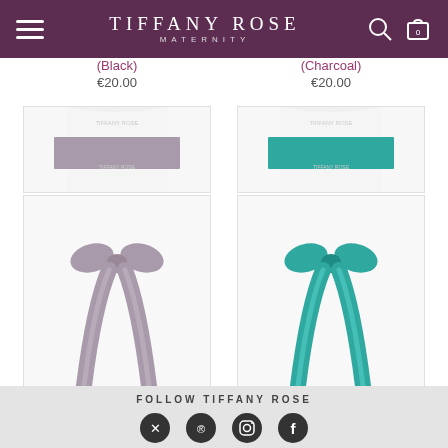TIFFANY ROSE MATERNITY
(Black)
€20.00
(Charcoal)
€20.00
[Figure (photo): Smooth Satin Sash Slim in Dove Grey color — a satin ribbon tied in a bow with long tails]
Smooth Satin Sash Slim
(Dove Grey)
€20.00
[Figure (photo): Smooth Satin Sash Slim in Dark Teal color — a teal satin ribbon tied in a bow with long tails]
Smooth Satin Sash Slim
(Dark Teal)
€20.00
FOLLOW TIFFANY ROSE